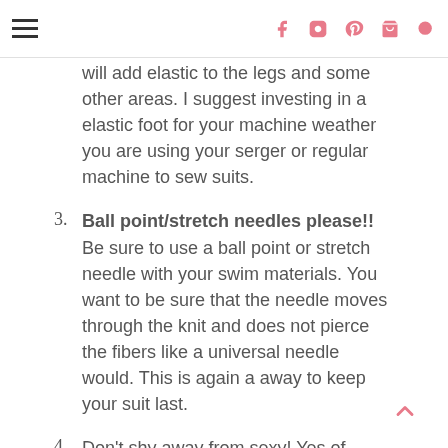navigation header with hamburger menu and social icons
will add elastic to the legs and some other areas. I suggest investing in a elastic foot for your machine weather you are using your serger or regular machine to sew suits.
3. Ball point/stretch needles please!! Be sure to use a ball point or stretch needle with your swim materials. You want to be sure that the needle moves through the knit and does not pierce the fibers like a universal needle would. This is again a away to keep your suit last.
4. Don't shy away from sexy! Yes of course if you preference is to be more modest go for it but don't shy away from sexy styles if you are ok with it. We tend to put a lot of stipulations on ourselves like when